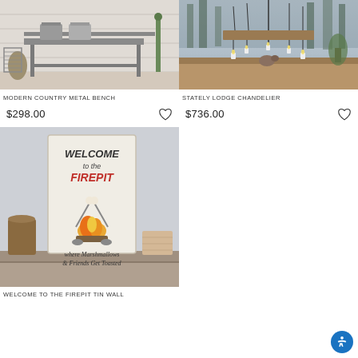[Figure (photo): Metal bench with grey metal frame against white shiplap wall with baskets]
[Figure (photo): Stately lodge chandelier with black iron frame and candle-style lights over wooden sideboard]
MODERN COUNTRY METAL BENCH
STATELY LODGE CHANDELIER
$298.00
$736.00
[Figure (photo): Welcome to the Firepit tin wall sign on shelf - where Marshmallows & Friends Get Toasted]
WELCOME TO THE FIREPIT TIN WALL